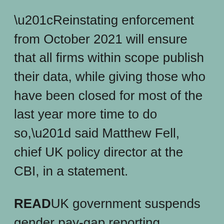“Reinstating enforcement from October 2021 will ensure that all firms within scope publish their data, while giving those who have been closed for most of the last year more time to do so,” said Matthew Fell, chief UK policy director at the CBI, in a statement.
READ UK government suspends gender pay-gap reporting deadlines
Separately, the Hampton-Alexander Review, an independent government-supported initiative to increase the representation of women in senior leadership position and on